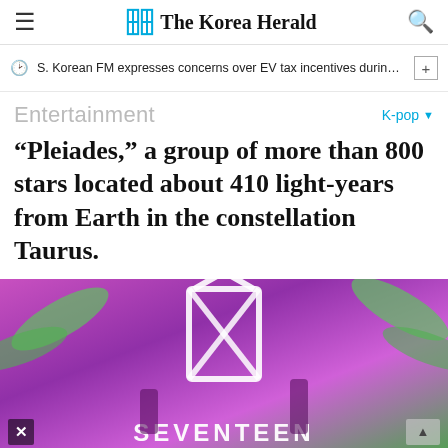The Korea Herald
S. Korean FM expresses concerns over EV tax incentives during c...
Entertainment
K-pop
“Pleiades,” a group of more than 800 stars located about 410 light-years from Earth in the constellation Taurus.
[Figure (photo): K-pop performance on stage with pink/purple lighting, decorative geometric logo backdrop, performers on stage]
View store hours, get directions, or call your salon!